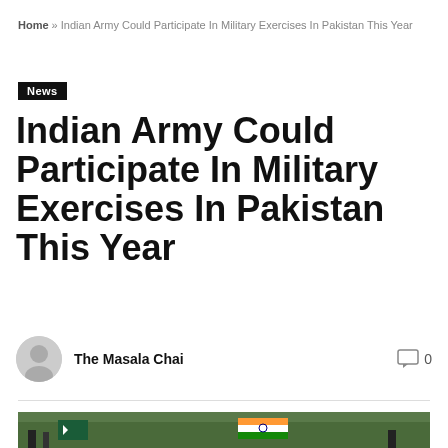Home » Indian Army Could Participate In Military Exercises In Pakistan This Year
News
Indian Army Could Participate In Military Exercises In Pakistan This Year
The Masala Chai   0
[Figure (photo): Soldiers holding Pakistani and Indian flags outdoors with trees in background]